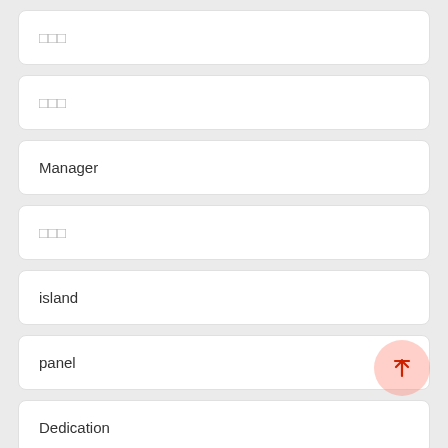□□□
□□□
Manager
□□□
island
panel
Dedication